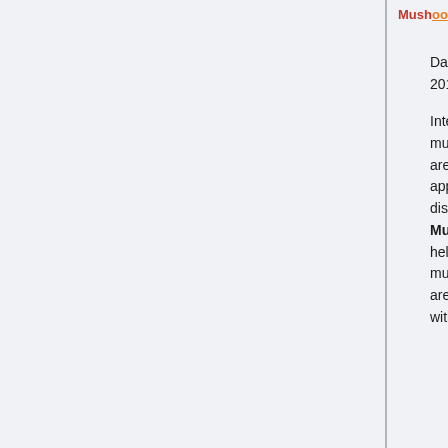MushroomMAP
Date started:
2014-09-08
Interest in mushrooms is mushrooming. Mushrooms are somehow mysterious, appearing and disappearing. MushroomMAP aims to help solve one of the big mushroom mysteries: "How are they distributed?" Even within